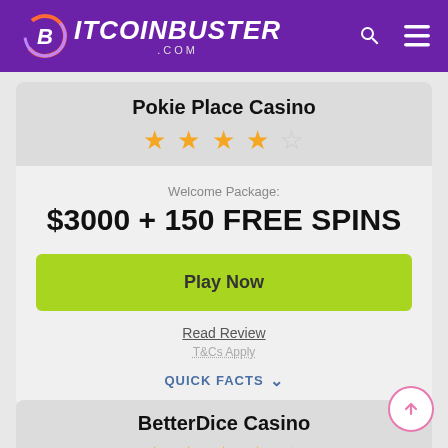BitcoinBuster.com
Pokie Place Casino
★★★★☆ (4 out of 5 stars)
Welcome Package:
$3000 + 150 FREE SPINS
Play Now
Read Review
T&Cs Apply
QUICK FACTS ∨
BetterDice Casino
★★★★☆